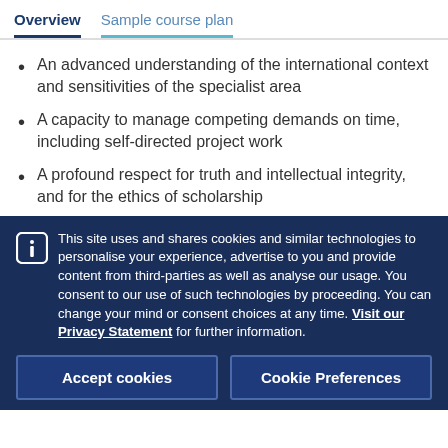Overview | Sample course plan
An advanced understanding of the international context and sensitivities of the specialist area
A capacity to manage competing demands on time, including self-directed project work
A profound respect for truth and intellectual integrity, and for the ethics of scholarship
This site uses and shares cookies and similar technologies to personalise your experience, advertise to you and provide content from third-parties as well as analyse our usage. You consent to our use of such technologies by proceeding. You can change your mind or consent choices at any time. Visit our Privacy Statement for further information.
Accept cookies | Cookie Preferences